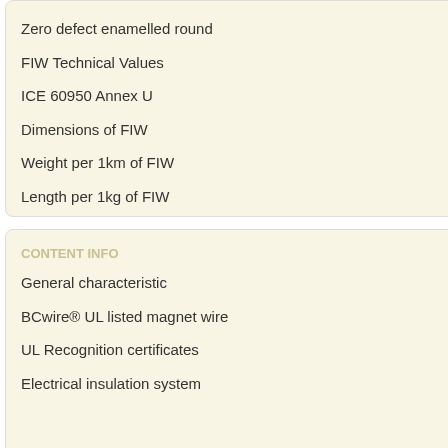Zero defect enamelled round
FIW Technical Values
ICE 60950 Annex U
Dimensions of FIW
Weight per 1km of FIW
Length per 1kg of FIW
CONTENT INFO
General characteristic
BCwire® UL listed magnet wire
UL Recognition certificates
Electrical insulation system
The wire with high thermal cla
IEC60317-56 publication 201
OBJT2 UL approval
MW85-C NEMA standar
The wire can meet the require
transformer, electronic switch